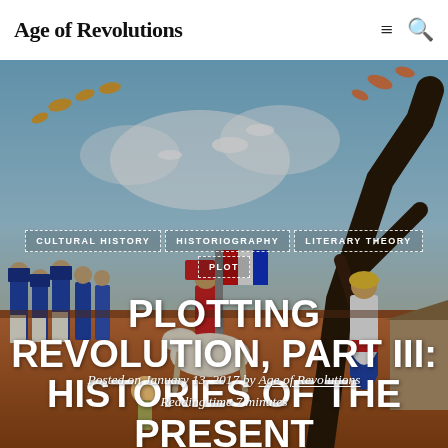Age of Revolutions
[Figure (illustration): Colorful painting depicting a Haitian revolutionary scene with soldiers, figures in traditional dress, and surreal elements including fish flying in a blue sky and a large dark tree branch. Figures in blue military uniforms march on the left; a woman in white and blue dress stands on the right; dreamlike imagery fills the upper portion.]
CULTURAL HISTORY
HISTORIOGRAPHY
LITERARY THEORY
PLOT
PLOTTING REVOLUTION, PART III: HISTORIES OF THE PRESENT
Posted on January 13, 2017 by Age of Revolutions
Reading time 7 minutes